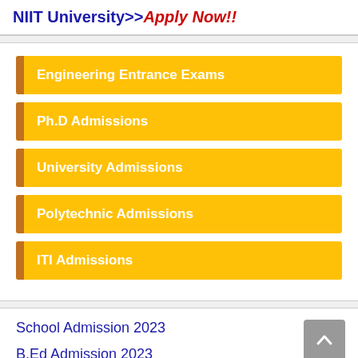NIIT University>>Apply Now!!
Engineering Entrance Exams
Ph.D Admissions
University Admissions
Polytechnic Admissions
ITI Admissions
School Admission 2023
B.Ed Admission 2023
B.Sc Nursing Admission 2023